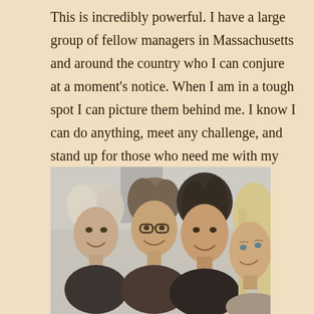This is incredibly powerful. I have a large group of fellow managers in Massachusetts and around the country who I can conjure at a moment's notice. When I am in a tough spot I can picture them behind me. I know I can do anything, meet any challenge, and stand up for those who need me with my Unstoppable Squad behind me.
[Figure (photo): A selfie-style photograph of four women smiling together. The photo is in muted/desaturated tones. One woman on the left has curly light hair, the second wears glasses, the third has dark hair, and the fourth on the right has straight blonde hair.]